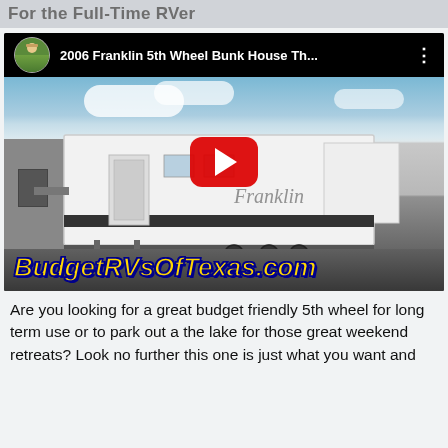For the Full-Time RVer
[Figure (screenshot): YouTube video thumbnail for '2006 Franklin 5th Wheel Bunk House Th...' showing a white Franklin 5th wheel RV trailer parked in a lot, with BudgetRVsOfTexas.com text overlay and a red YouTube play button in the center.]
Are you looking for a great budget friendly 5th wheel for long term use or to park out a the lake for those great weekend retreats? Look no further this one is just what you want and